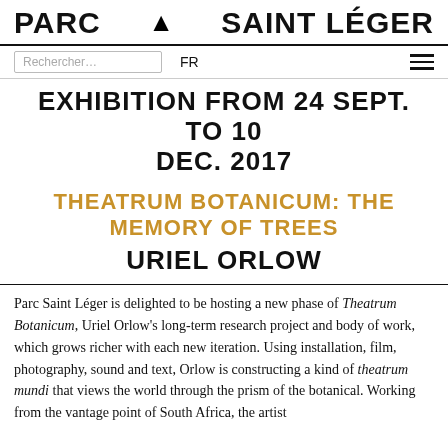PARC  SAINT LÉGER
EXHIBITION FROM 24 SEPT. TO 10 DEC. 2017
THEATRUM BOTANICUM: THE MEMORY OF TREES
URIEL ORLOW
Parc Saint Léger is delighted to be hosting a new phase of Theatrum Botanicum, Uriel Orlow's long-term research project and body of work, which grows richer with each new iteration. Using installation, film, photography, sound and text, Orlow is constructing a kind of theatrum mundi that views the world through the prism of the botanical. Working from the vantage point of South Africa, the artist